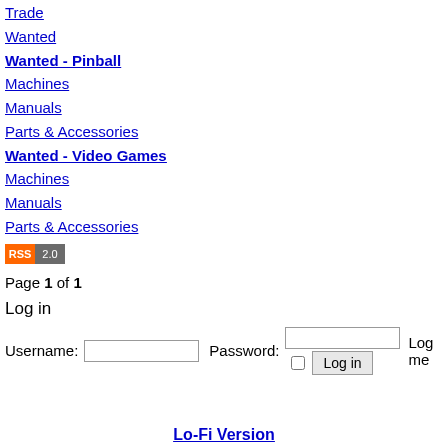Trade
Wanted
Wanted - Pinball
Machines
Manuals
Parts & Accessories
Wanted - Video Games
Machines
Manuals
Parts & Accessories
[Figure (logo): RSS 2.0 badge with orange RSS label and gray 2.0 label]
Page 1 of 1
Log in
Username: [input] Password: [input] [checkbox] Log in  Log me
Lo-Fi Version